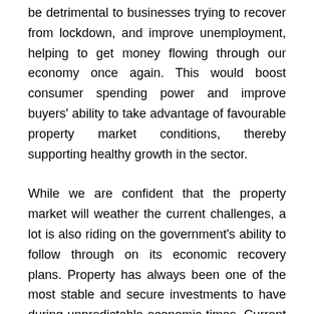be detrimental to businesses trying to recover from lockdown, and improve unemployment, helping to get money flowing through our economy once again. This would boost consumer spending power and improve buyers' ability to take advantage of favourable property market conditions, thereby supporting healthy growth in the sector.
While we are confident that the property market will weather the current challenges, a lot is also riding on the government's ability to follow through on its economic recovery plans. Property has always been one of the most stable and secure investments to have during unpredictable economic times. Current buying conditions will only make those benefits more pronounced. Those able to take advantage will not regret their decision as long as they've done their research, partnered with an experienced professional, and resisted the urge to overreach on